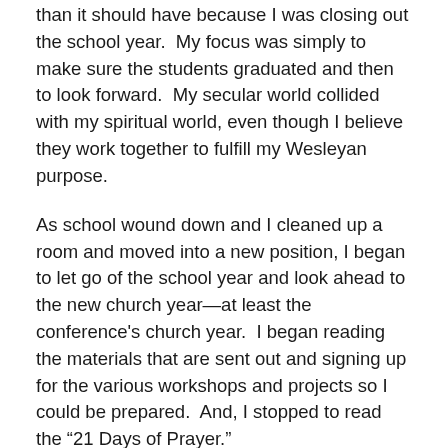than it should have because I was closing out the school year.  My focus was simply to make sure the students graduated and then to look forward.  My secular world collided with my spiritual world, even though I believe they work together to fulfill my Wesleyan purpose.
As school wound down and I cleaned up a room and moved into a new position, I began to let go of the school year and look ahead to the new church year—at least the conference's church year.  I began reading the materials that are sent out and signing up for the various workshops and projects so I could be prepared.  And, I stopped to read the “21 Days of Prayer.”
First, I must apologize for my lack of pastoral responsibility.  The past two weeks, I should have shared this study with you and ready to introduce the final week of